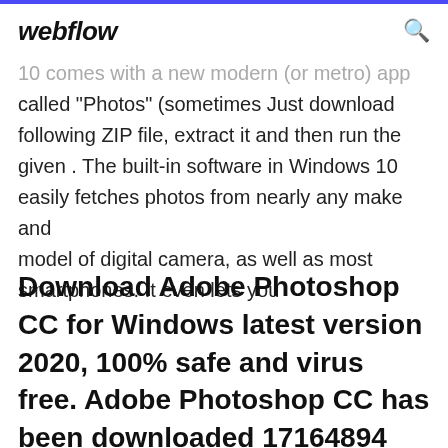webflow
10 comes with a new modern (or metro) app called "Photos" (sometimes Just download following ZIP file, extract it and then run the given . The built-in software in Windows 10 easily fetches photos from nearly any make and model of digital camera, as well as most smartphones. It even lets you
Download Adobe Photoshop CC for Windows latest version 2020, 100% safe and virus free. Adobe Photoshop CC has been downloaded 17164894 times this